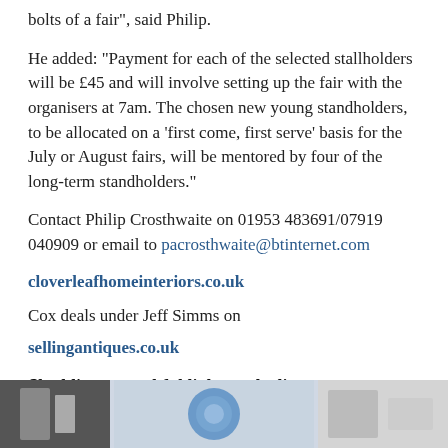bolts of a fair”, said Philip.
He added: “Payment for each of the selected stallholders will be £45 and will involve setting up the fair with the organisers at 7am. The chosen new young standholders, to be allocated on a ‘first come, first serve’ basis for the July or August fairs, will be mentored by four of the long-term standholders.”
Contact Philip Crosthwaite on 01953 483691/07919 040909 or email to pacrosthwaite@btinternet.com
cloverleafhomeinteriors.co.uk
Cox deals under Jeff Simms on
sellingantiques.co.uk
Shedding a youthful light on dealing
[Figure (photo): Bottom strip showing partial images: a dark/monochrome image on the left, a round blue object in the center, and a lighter image on the right.]